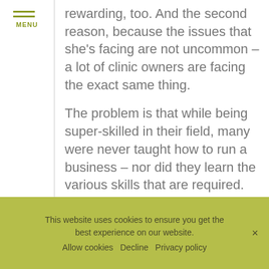MENU
rewarding, too. And the second reason, because the issues that she's facing are not uncommon – a lot of clinic owners are facing the exact same thing.
The problem is that while being super‑skilled in their field, many were never taught how to run a business – nor did they learn the various skills that are required.
This website uses cookies to ensure you get the best experience on our website.
Allow cookies   Decline   Privacy policy